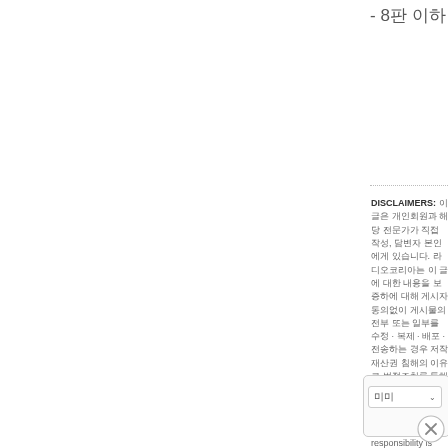- 8판 이하 하단 내용 삭제됩니다.
DISCLAIMERS: 이 글은 개인회원과 해당 전문가가 직접 작성, 담변자 본인에게 있습니다. 라디오코리아는 이 글에 대한 내용을 보증하에 대해 게시자 동의없이 게시물의 전부 또는 일부를 수정 · 복제 · 배포 · 전송하는 경우 저작재산권 침해의 이유로 법적조치를 통해 law enforcement, legal knowledge, and interpretation of the No responsibility is assumed for Radio Korea in the result of and make his or her final judgment. In principle, all posts in posts without the consent of the publisher. Any modification criminal liability.
[Figure (screenshot): A dropdown select field with Korean text and a chevron icon, inside a rounded box UI element]